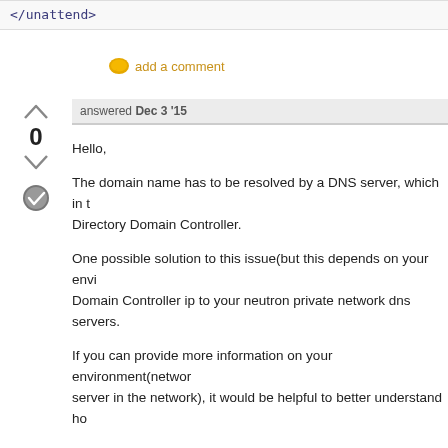</unattend>
add a comment
answered Dec 3 '15
Hello,

The domain name has to be resolved by a DNS server, which in turn needs to be provided by the Active Directory Domain Controller.

One possible solution to this issue(but this depends on your environment) would be to add the Domain Controller ip to your neutron private network dns servers.

If you can provide more information on your environment(network configuration, whether there is a DNS server in the network), it would be helpful to better understand how to resolve the issue.

Thanks.